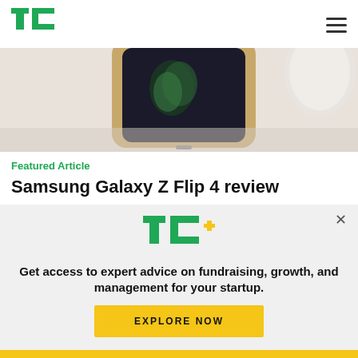TechCrunch logo and navigation
[Figure (photo): Samsung Galaxy Z Flip 4 smartphone lying on a flat surface, seen from above at an angle, showing the folded device with a green butterfly/plant on screen, on a light background with a white cylindrical object in corner]
Featured Article
Samsung Galaxy Z Flip 4 review
Brian Heater
9:03 PM UTC • August 18, 2022
[Figure (infographic): TC+ promotional banner: TechCrunch Plus logo, text 'Get access to expert advice on fundraising, growth, and management for your startup.', yellow EXPLORE NOW button, close X button]
Get access to expert advice on fundraising, growth, and management for your startup.